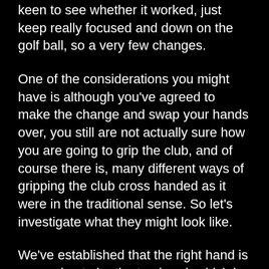keen to see whether it worked, just keep really focused and down on the golf ball, so a very few changes.
One of the considerations you might have is although you've agreed to make the change and swap your hands over, you still are not actually sure how you are going to grip the club, and of course there is, many different ways of gripping the club cross handed as it were in the traditional sense. So let's investigate what they might look like.
We've established that the right hand is now going to be the top hand, which is different from a normal shot. The left hand is going to come in below, so you could have your standing baseball grip, ten fingers on the club, two fingers pointing down the middle and that